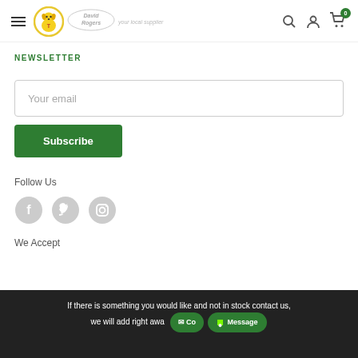David Rogers logo and navigation header
NEWSLETTER
Your email
Subscribe
Follow Us
[Figure (logo): Facebook, Twitter, Instagram social media icons in grey circles]
We Accept
If there is something you would like and not in stock contact us, we will add right awa...
Message